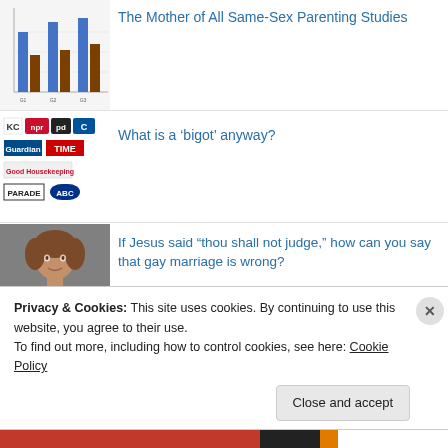[Figure (bar-chart): Bar chart thumbnail showing comparison data with blue and brown/red bars]
The Mother of All Same-Sex Parenting Studies
[Figure (illustration): Media logos thumbnail: NPR, CBS, Guardian, TIME, Good Housekeeping, PARADE, ABC]
What is a ‘bigot’ anyway?
[Figure (photo): Photo of a woman with short hair]
If Jesus said “thou shall not judge,” how can you say that gay marriage is wrong?
Privacy & Cookies: This site uses cookies. By continuing to use this website, you agree to their use.
To find out more, including how to control cookies, see here: Cookie Policy